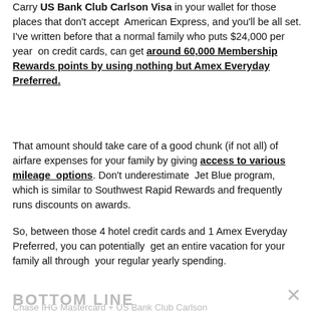Carry US Bank Club Carlson Visa in your wallet for those places that don't accept American Express, and you'll be all set. I've written before that a normal family who puts $24,000 per year on credit cards, can get around 60,000 Membership Rewards points by using nothing but Amex Everyday Preferred.
That amount should take care of a good chunk (if not all) of airfare expenses for your family by giving access to various mileage options. Don't underestimate Jet Blue program, which is similar to Southwest Rapid Rewards and frequently runs discounts on awards.
So, between those 4 hotel credit cards and 1 Amex Everyday Preferred, you can potentially get an entire vacation for your family all through your regular yearly spending.
BOTTOM LINE
Chase IHG Mastercard + US Bank Club Carlson